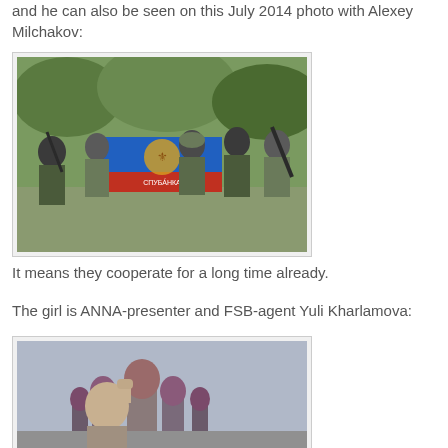and he can also be seen on this July 2014 photo with Alexey Milchakov:
[Figure (photo): Group of armed soldiers in camouflage gear holding a blue and red flag of the Donetsk People's Republic in an outdoor setting with trees in the background.]
It means they cooperate for a long time already.
The girl is ANNA-presenter and FSB-agent Yuli Kharlamova:
[Figure (photo): A person raising their fist in front of Saint Basil's Cathedral on Red Square in Moscow.]